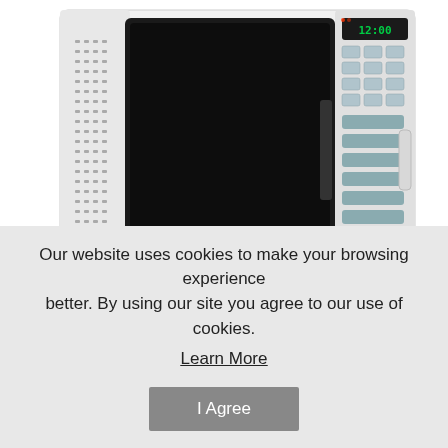[Figure (photo): Photo of a white countertop microwave oven with black door panel, digital display showing 12:00, and keypad buttons on the right side. The image is cropped showing the front and right side of the appliance on a white background.]
PRICE:  $127.14
Our website uses cookies to make your browsing experience better. By using our site you agree to our use of cookies.
Learn More
I Agree